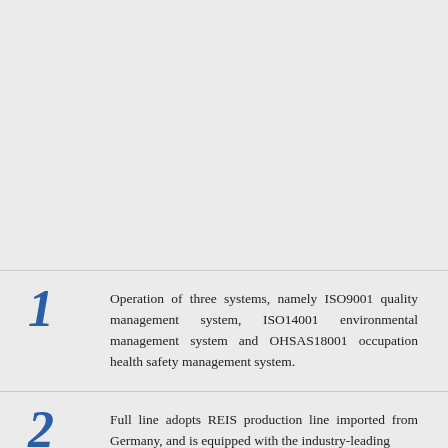1 Operation of three systems, namely ISO9001 quality management system, ISO14001 environmental management system and OHSAS18001 occupation health safety management system.
2 Full line adopts REIS production line imported from Germany, and is equipped with the industry-leading